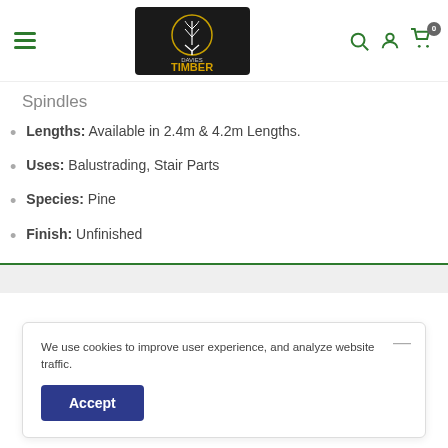Davies Timber - navigation header with logo, hamburger menu, search, account, and cart icons
Spindles
Lengths: Available in 2.4m & 4.2m Lengths.
Uses: Balustrading, Stair Parts
Species: Pine
Finish: Unfinished
We use cookies to improve user experience, and analyze website traffic.